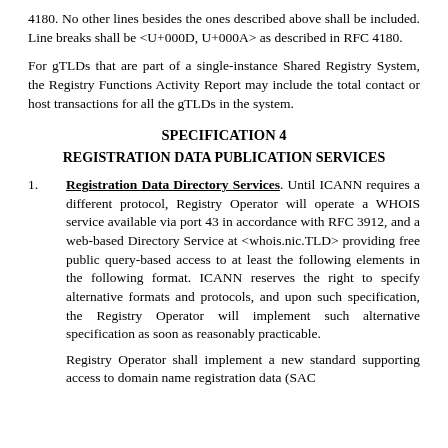4180.  No other lines besides the ones described above shall be included.  Line breaks shall be <U+000D, U+000A> as described in RFC 4180.
For gTLDs that are part of a single-instance Shared Registry System, the Registry Functions Activity Report may include the total contact or host transactions for all the gTLDs in the system.
SPECIFICATION 4
REGISTRATION DATA PUBLICATION SERVICES
1. Registration Data Directory Services.  Until ICANN requires a different protocol, Registry Operator will operate a WHOIS service available via port 43 in accordance with RFC 3912, and a web-based Directory Service at <whois.nic.TLD> providing free public query-based access to at least the following elements in the following format. ICANN reserves the right to specify alternative formats and protocols, and upon such specification, the Registry Operator will implement such alternative specification as soon as reasonably practicable.
Registry Operator shall implement a new standard supporting access to domain name registration data (SAC...